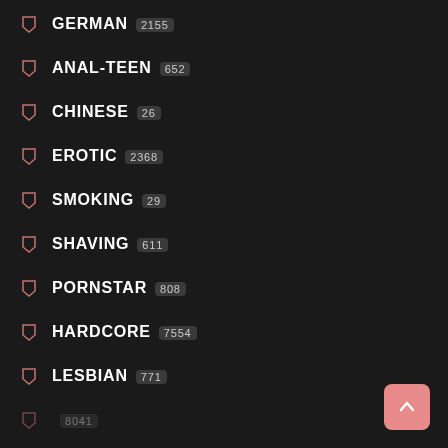GERMAN 2155
ANAL-TEEN 652
CHINESE 26
EROTIC 2368
SMOKING 29
SHAVING 611
PORNSTAR 808
HARDCORE 7554
LESBIAN 771
8041